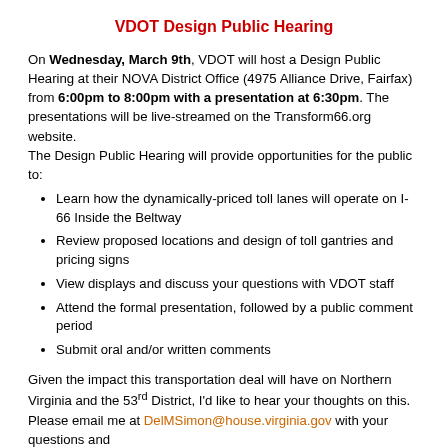VDOT Design Public Hearing
On Wednesday, March 9th, VDOT will host a Design Public Hearing at their NOVA District Office (4975 Alliance Drive, Fairfax) from 6:00pm to 8:00pm with a presentation at 6:30pm. The presentations will be live-streamed on the Transform66.org website.
The Design Public Hearing will provide opportunities for the public to:
Learn how the dynamically-priced toll lanes will operate on I-66 Inside the Beltway
Review proposed locations and design of toll gantries and pricing signs
View displays and discuss your questions with VDOT staff
Attend the formal presentation, followed by a public comment period
Submit oral and/or written comments
Given the impact this transportation deal will have on Northern Virginia and the 53rd District, I'd like to hear your thoughts on this. Please email me at DelMSimon@house.virginia.gov with your questions and